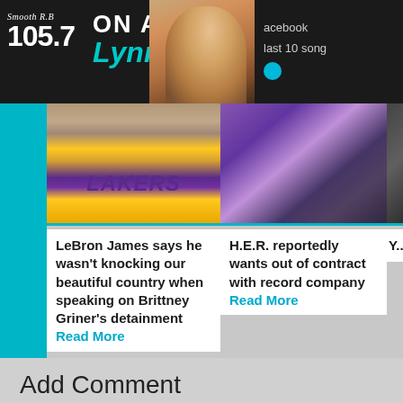Smooth R&B 105.7 ON AIR Lynne Haze | acebook | last 10 songs
[Figure (photo): LeBron James in a yellow Los Angeles Lakers jersey]
LeBron James says he wasn't knocking our beautiful country when speaking on Brittney Griner's detainment Read More
[Figure (photo): H.E.R. in a purple/blue lit setting]
H.E.R. reportedly wants out of contract with record company Read More
[Figure (photo): Partially visible third article image, dark/black tones]
Y... D... s... m... R...
Add Comment